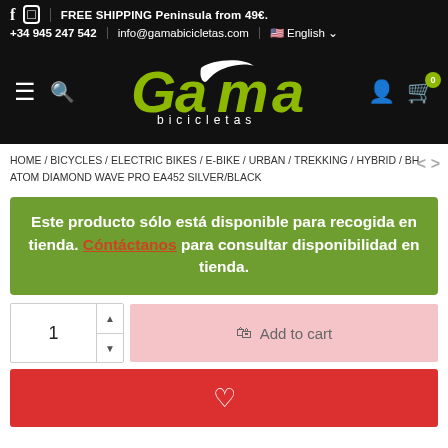FREE SHIPPING Peninsula from 49€. +34 945 247 542 | info@gamabicicletas.com | English
[Figure (logo): Gama Bicicletas logo with green italic text on black background]
HOME / BICYCLES / ELECTRIC BIKES / E-BIKE / URBAN / TREKKING / HYBRID / BH ATOM DIAMOND WAVE PRO EA452 SILVER/BLACK
Este producto sólo está disponible para recogida en tienda. Cóntáctanos para consultar disponibilidad en tienda.
1 Add to cart
[Figure (other): Red wishlist/heart button]